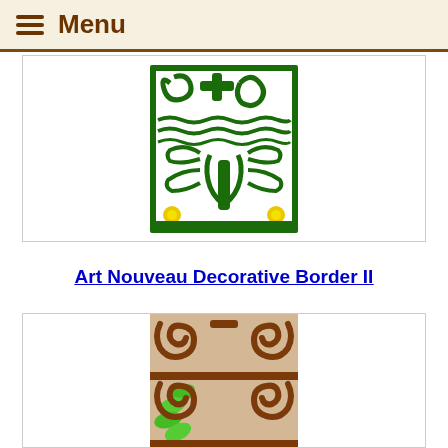Menu
[Figure (illustration): Art Nouveau decorative border illustration with green swirling vine and scroll patterns on white background, with small yellow flower accents at bottom corners, framed by dark green border]
Art Nouveau Decorative Border II
[Figure (illustration): Art Nouveau decorative border illustration with brown swirling scroll patterns on tan/beige background, with bright green leaf/petal shapes in the center section]